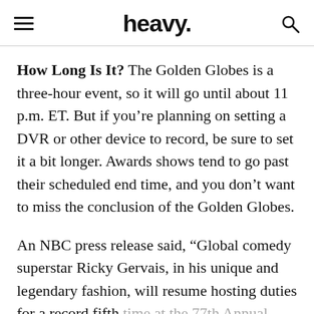heavy.
How Long Is It? The Golden Globes is a three-hour event, so it will go until about 11 p.m. ET. But if you're planning on setting a DVR or other device to record, be sure to set it a bit longer. Awards shows tend to go past their scheduled end time, and you don't want to miss the conclusion of the Golden Globes.
An NBC press release said, “Global comedy superstar Ricky Gervais, in his unique and legendary fashion, will resume hosting duties for a record fifth time at the 77th Annual Golden Globe Awards. The